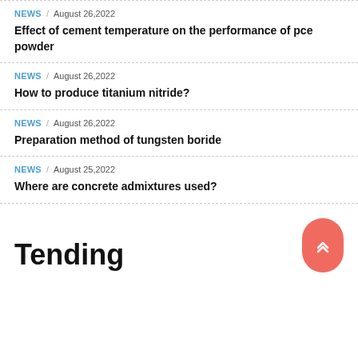NEWS / August 26,2022
Effect of cement temperature on the performance of pce powder
NEWS / August 26,2022
How to produce titanium nitride?
NEWS / August 26,2022
Preparation method of tungsten boride
NEWS / August 25,2022
Where are concrete admixtures used?
Tending